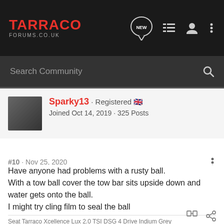TARRACO FORUMS.CO.UK
Search Community
Sparky13 · Registered 🇬🇧
Joined Oct 14, 2019 · 325 Posts
#10 · Nov 25, 2020
Have anyone had problems with a rusty ball.
With a tow ball cover the tow bar sits upside down and water gets onto the ball.
I might try cling film to seal the ball
Seat Tarraco Xcellence Lux 2.0 TSI DSG 4 Drive Indium Grey
With factory fitted tow-bar , side steps and mud flaps.